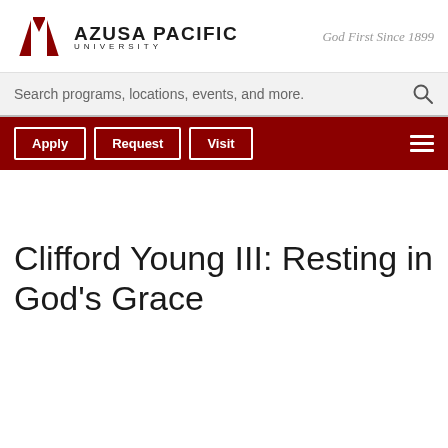[Figure (logo): Azusa Pacific University logo with red triangular shield icon and bold text 'AZUSA PACIFIC UNIVERSITY']
God First Since 1899
Search programs, locations, events, and more.
Apply
Request
Visit
Clifford Young III: Resting in God's Grace